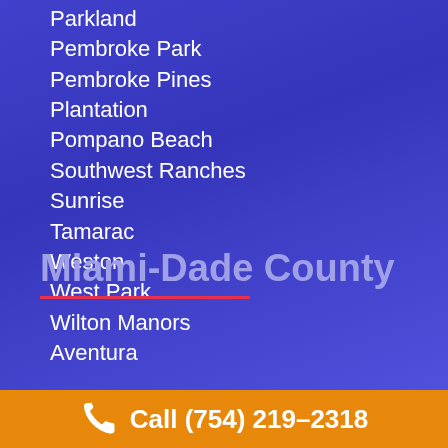Parkland
Pembroke Park
Pembroke Pines
Plantation
Pompano Beach
Southwest Ranches
Sunrise
Tamarac
Weston
West Park
Wilton Manors
Miami-Dade County
Aventura
Call (754) 219-2318